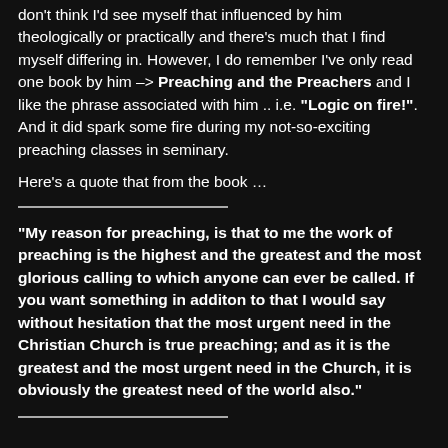don't think I'd see myself that influenced by him theologically or practically and there's much that I find myself differing in. However, I do remember I've only read one book by him → Preaching and the Preachers and I like the phrase associated with him .. i.e. "Logic on fire!". And it did spark some fire during my not-so-exciting preaching classes in seminary.
Here's a quote that from the book …
"My reason for preaching, is that to me the work of preaching is the highest and the greatest and the most glorious calling to which anyone can ever be called. If you want something in additon to that I would say without hesitation that the most urgent need in the Christian Church is true preaching; and as it is the greatest and the most urgent need in the Church, it is obviously the greatest need of the world also."